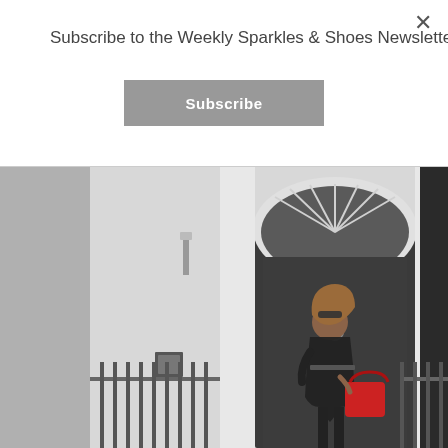Subscribe to the Weekly Sparkles & Shoes Newsletter
Subscribe
[Figure (photo): Woman standing in front of a white Georgian townhouse with a dark grey arched door numbered 7, wearing a dark floral/printed short-sleeve dress with a belt, sunglasses, and carrying a red quilted tote bag. Iron railings flank both sides.]